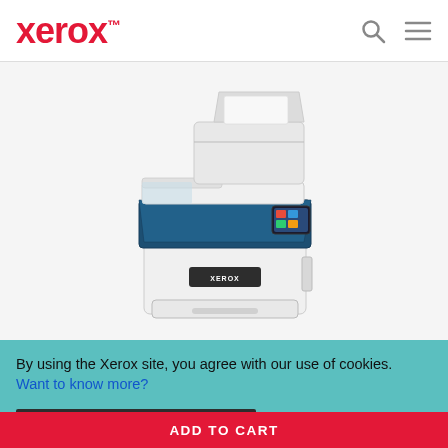Xerox™
[Figure (photo): Xerox B305 multifunction printer product photo showing white and dark teal/navy device with document feeder on top, scanner bed, control panel touchscreen, and paper tray]
XEROX B305 MULTIFUNCTION PRINTER
By using the Xerox site, you agree with our use of cookies.  Want to know more?
I consent to cookies
ADD TO CART